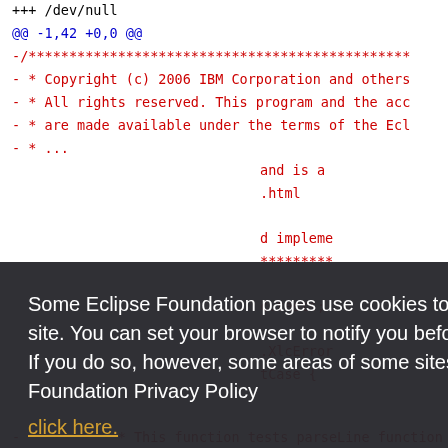+++ /dev/null
@@ -1,42 +0,0 @@
-/**************************************************
- * Copyright (c) 2006 IBM Corporation and others
- * All rights reserved. This program and the accompanying
- * are made available under the terms of the Ecl
- * ...
 and is a
.html
 d impleme
 ********
 c.tests;
 .XlcError
tCase {
 - * This function tests parseLine function
Some Eclipse Foundation pages use cookies to better serve you when you return to the site. You can set your browser to notify you before you receive a cookie or turn off cookies. If you do so, however, some areas of some sites may not function properly. To read Eclipse Foundation Privacy Policy click here.